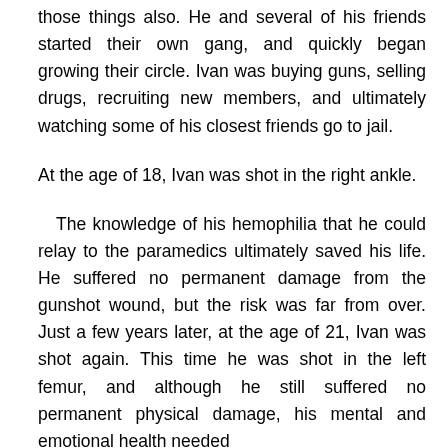those things also. He and several of his friends started their own gang, and quickly began growing their circle. Ivan was buying guns, selling drugs, recruiting new members, and ultimately watching some of his closest friends go to jail.
At the age of 18, Ivan was shot in the right ankle.
The knowledge of his hemophilia that he could relay to the paramedics ultimately saved his life. He suffered no permanent damage from the gunshot wound, but the risk was far from over. Just a few years later, at the age of 21, Ivan was shot again. This time he was shot in the left femur, and although he still suffered no permanent physical damage, his mental and emotional health needed